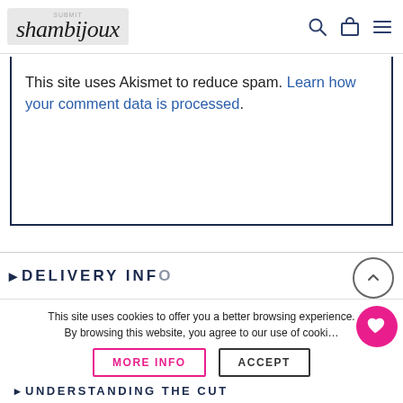shambijoux — navigation bar with logo, search, cart, and menu icons
This site uses Akismet to reduce spam. Learn how your comment data is processed.
DELIVERY INFO (partially visible section header)
This site uses cookies to offer you a better browsing experience. By browsing this website, you agree to our use of cookies.
MORE INFO | ACCEPT
UNDERSTANDING THE CUT (partially visible)